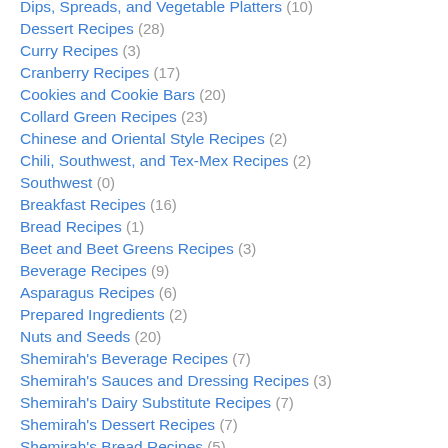Dips, Spreads, and Vegetable Platters (10)
Dessert Recipes (28)
Curry Recipes (3)
Cranberry Recipes (17)
Cookies and Cookie Bars (20)
Collard Green Recipes (23)
Chinese and Oriental Style Recipes (2)
Chili, Southwest, and Tex-Mex Recipes (2)
Southwest (0)
Breakfast Recipes (16)
Bread Recipes (1)
Beet and Beet Greens Recipes (3)
Beverage Recipes (9)
Asparagus Recipes (6)
Prepared Ingredients (2)
Nuts and Seeds (20)
Shemirah's Beverage Recipes (7)
Shemirah's Sauces and Dressing Recipes (3)
Shemirah's Dairy Substitute Recipes (7)
Shemirah's Dessert Recipes (7)
Shemirah's Bread Recipes (5)
Shemirah's Soup and Salas Recipes (4)
Shemirah's Entree Recipes (12)